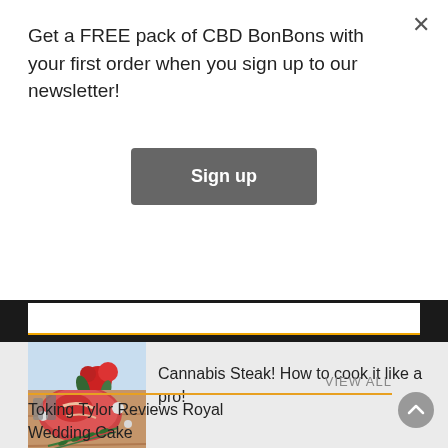Get a FREE pack of CBD BonBons with your first order when you sign up to our newsletter!
Sign up
[Figure (photo): Partial view of a food photo showing a blue plate with red flowers]
[Figure (photo): Raw steak with rosemary sprigs and spices on a wooden board]
Cannabis Steak! How to cook it like a pro!
Reviews
VIEW ALL
Toking Tylor Reviews Royal Wedding Cake